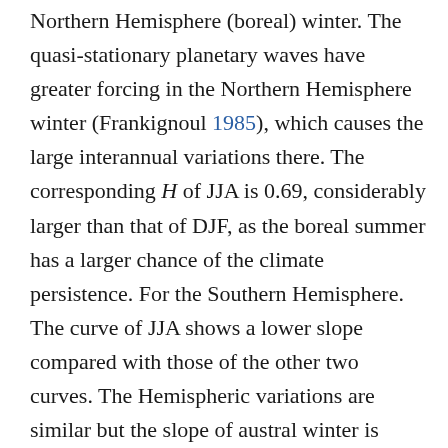Northern Hemisphere (boreal) winter. The quasi-stationary planetary waves have greater forcing in the Northern Hemisphere winter (Frankignoul 1985), which causes the large interannual variations there. The corresponding H of JJA is 0.69, considerably larger than that of DJF, as the boreal summer has a larger chance of the climate persistence. For the Southern Hemisphere. The curve of JJA shows a lower slope compared with those of the other two curves. The Hemispheric variations are similar but the slope of austral winter is obviously smaller than that of the austral summer, which indicates that the austral winter has a larger year to year persistence.
The results scaling of FA present the persistence in climate for consequent years. To further test the